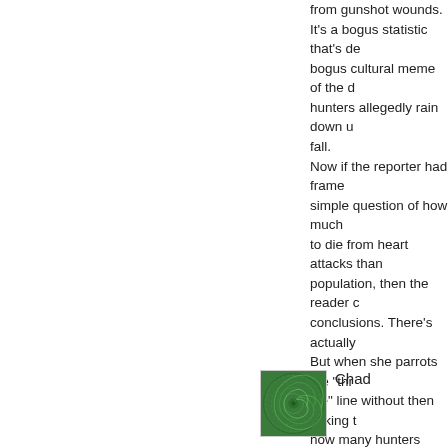from gunshot wounds. It's a bogus statistic that's de bogus cultural meme of the d hunters allegedly rain down u fall. Now if the reporter had frame simple question of how much to die from heart attacks than population, then the reader c conclusions. There's actually But when she parrots the "thr die" line without then asking t how many hunters actually di wounds" then it's a meaningl
Posted by: Chad Lov
Chad
[Figure (illustration): Green circular spiral pattern avatar image]
I agree with your premise the lazy way out. I agree that ste drunken yahoos who blast av fogged eyes, at the slightest preposterous!